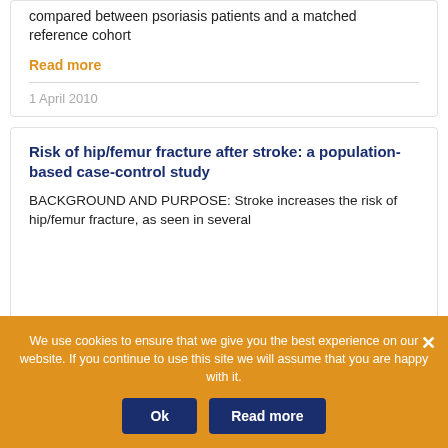compared between psoriasis patients and a matched reference cohort
Read more
1 April 2010
Risk of hip/femur fracture after stroke: a population-based case-control study
BACKGROUND AND PURPOSE: Stroke increases the risk of hip/femur fracture, as seen in several studies, although the time course of this elevation has not been characterised. Our purpose is to evaluate the seasonality and the time course of any elevated risk. METHODS: We conducted a case-control study using the Dutch PHARMO-records linkage system database
We use cookies to ensure that we give you the best experience on our website. If you continue to use this site we will assume that you are happy with it.
Ok
Read more